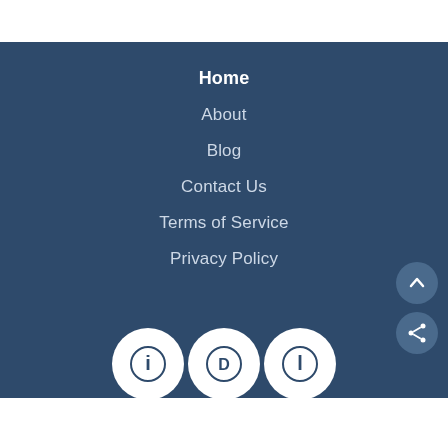Home
About
Blog
Contact Us
Terms of Service
Privacy Policy
[Figure (illustration): Navigation menu on dark blue background with scroll-to-top and share buttons on the right side, and three social media icon circles at the bottom]